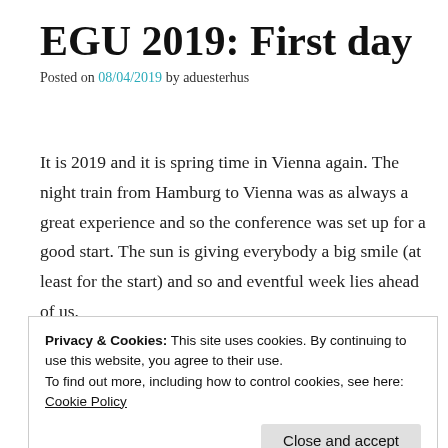EGU 2019: First day
Posted on 08/04/2019 by aduesterhus
It is 2019 and it is spring time in Vienna again. The night train from Hamburg to Vienna was as always a great experience and so the conference was set up for a good start. The sun is giving everybody a big smile (at least for the start) and so and eventful week lies ahead of us.
““ And here we go again #EGU19
Privacy & Cookies: This site uses cookies. By continuing to use this website, you agree to their use.
To find out more, including how to control cookies, see here: Cookie Policy
The first day was fully-crammed for me by sea-level science